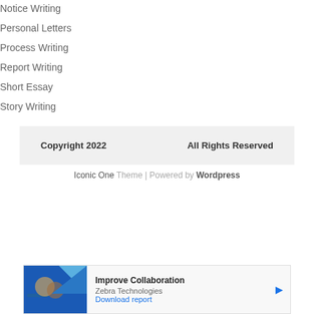Notice Writing
Personal Letters
Process Writing
Report Writing
Short Essay
Story Writing
Copyright 2022    All Rights Reserved
Iconic One Theme | Powered by Wordpress
[Figure (other): Advertisement banner: Ad label, image of people collaborating, 'Improve Collaboration', Zebra Technologies, 'Download report' link]